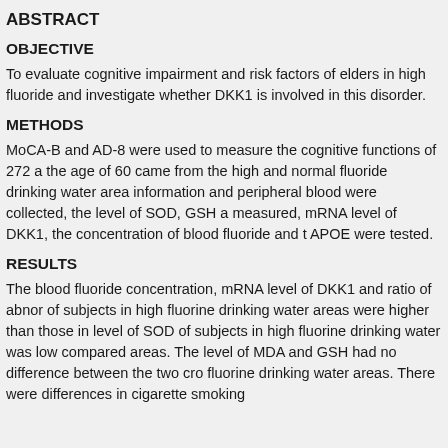ABSTRACT
OBJECTIVE
To evaluate cognitive impairment and risk factors of elders in high fluoride and investigate whether DKK1 is involved in this disorder.
METHODS
MoCA-B and AD-8 were used to measure the cognitive functions of 272 a the age of 60 came from the high and normal fluoride drinking water area information and peripheral blood were collected, the level of SOD, GSH a measured, mRNA level of DKK1, the concentration of blood fluoride and t APOE were tested.
RESULTS
The blood fluoride concentration, mRNA level of DKK1 and ratio of abnor of subjects in high fluorine drinking water areas were higher than those in level of SOD of subjects in high fluorine drinking water was low compared areas. The level of MDA and GSH had no difference between the two cro fluorine drinking water areas. There were differences in cigarette smoking